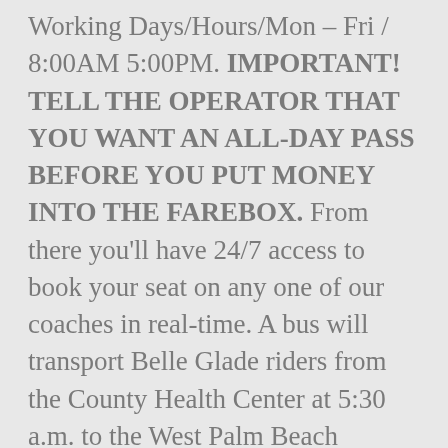Working Days/Hours/Mon – Fri / 8:00AM 5:00PM. IMPORTANT! TELL THE OPERATOR THAT YOU WANT AN ALL-DAY PASS BEFORE YOU PUT MONEY INTO THE FAREBOX. From there you'll have 24/7 access to book your seat on any one of our coaches in real-time. A bus will transport Belle Glade riders from the County Health Center at 5:30 a.m. to the West Palm Beach Intermodal Center. She doesn't want to drive and nor do i (I obviously cant) I saw in some places that Greyhound DID a discovery pass. By continuing to use this website, you consent to the use of cookies in accordance with our Cookie Policy. 30-Day + Zone 1 Pass : Ride Metro for 30 consecutive days from the first tap. When using 30-Day